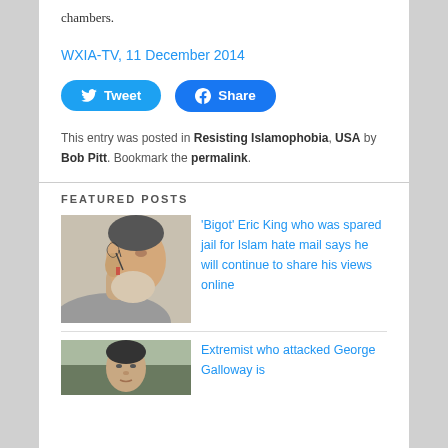chambers.
WXIA-TV, 11 December 2014
[Figure (screenshot): Tweet and Share social media buttons]
This entry was posted in Resisting Islamophobia, USA by Bob Pitt. Bookmark the permalink.
FEATURED POSTS
[Figure (photo): Man with face tattoos in profile view]
'Bigot' Eric King who was spared jail for Islam hate mail says he will continue to share his views online
[Figure (photo): Man looking at camera, partial view]
Extremist who attacked George Galloway is